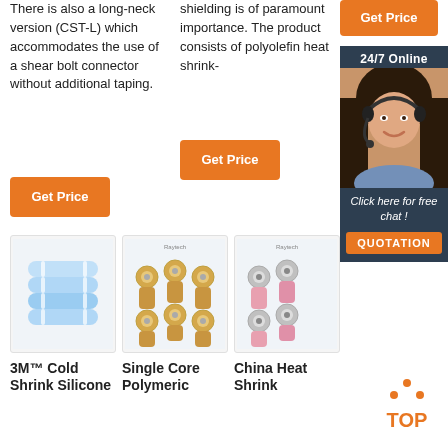There is also a long-neck version (CST-L) which accommodates the use of a shear bolt connector without additional taping.
shielding is of paramount importance. The product consists of polyolefin heat shrink-
[Figure (other): Orange 'Get Price' button (top right)]
[Figure (other): 24/7 Online customer support chat sidebar with photo of woman wearing headset and QUOTATION button]
[Figure (other): Orange 'Get Price' button (column 1)]
[Figure (other): Orange 'Get Price' button (column 2)]
[Figure (photo): Blue heat shrink connectors product image]
[Figure (photo): Single Core Polymeric connectors (gold/ring terminals) - Raytech brand]
[Figure (photo): China Heat Shrink connectors (pink/ring terminals) - Raytech brand]
3M™ Cold Shrink Silicone
Single Core Polymeric
China Heat Shrink
[Figure (other): TOP navigation button in orange]